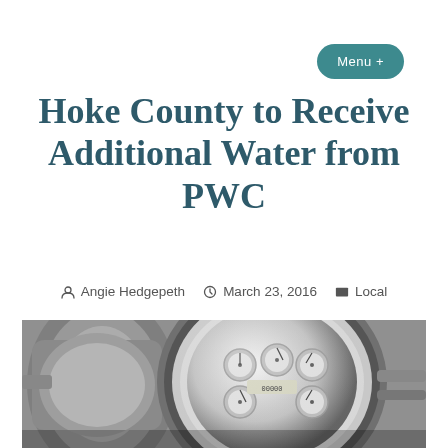Menu +
Hoke County to Receive Additional Water from PWC
Angie Hedgepeth   March 23, 2016   Local
[Figure (photo): Black and white close-up photograph of water meters with circular dials and gauges]